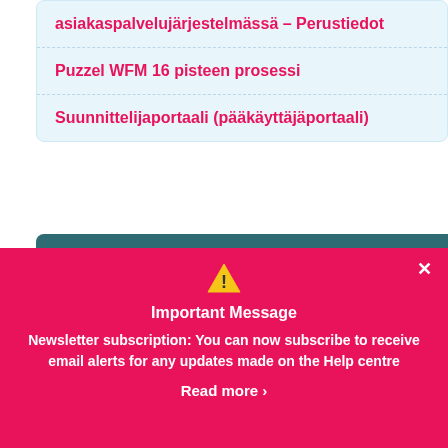asiakaspalvelujärjestelmässä – Perustiedot
Puzzel WFM 16 pisteen prosessi
Suunnittelijaportaali (pääkäyttäjäportaali)
IN THIS SECTION
User Guide
Important Message
Newsletter subscription: You can now subscribe to receive email alerts for any updates made on the Help centre
Read more ›